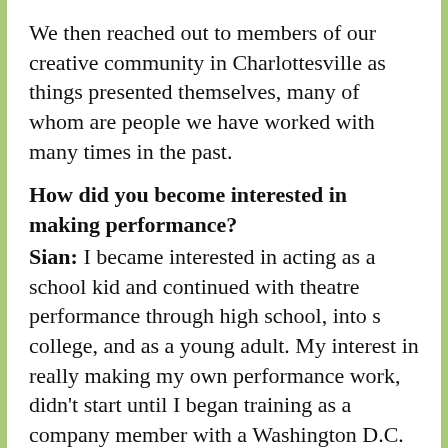We then reached out to members of our creative community in Charlottesville as things presented themselves, many of whom are people we have worked with many times in the past.
How did you become interested in making performance?
Sian: I became interested in acting as a school kid and continued with theatre performance through high school, into s college, and as a young adult. My interest in really making my own performance work, didn't start until I began training as a company member with a Washington D.C. based theatre company called Theatre Du Jour.
Theatre Du Jour is lead by B. Stanley  who was an apprentice to Ingemar Lindh and working with